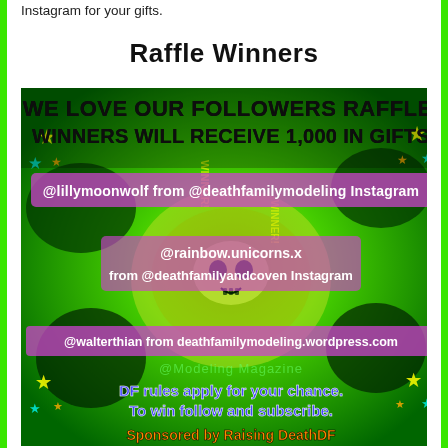Instagram for your gifts.
Raffle Winners
[Figure (infographic): Raffle winners announcement image with green psychedelic background and a skull emblem. Text reads: WE LOVE OUR FOLLOWERS RAFFLE. WINNERS WILL RECEIVE 1,000 IN GIFTS. Winners listed: @lillymoonwolf from @deathfamilymodeling Instagram; @rainbow.unicorns.x from @deathfamilyandcoven Instagram; @walterthian from deathfamilymodeling.wordpress.com. DF rules apply for your chance. To win follow and subscribe. Sponsored by Raising DeathDF. Stars and 'WINNER!' text decorating borders.]